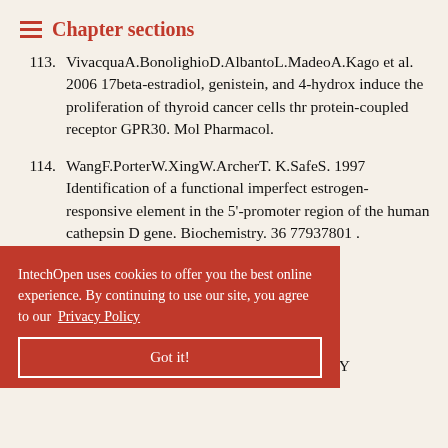Chapter sections
113. VivacquaA.BonolignioD.AlbantoL.MadeoA.Kago et al. 2006 17beta-estradiol, genistein, and 4-hydrox induce the proliferation of thyroid cancer cells thr protein-coupled receptor GPR30. Mol Pharmacol.
114. WangF.PorterW.XingW.ArcherT. K.SafeS. 1997 Identification of a functional imperfect estrogen-responsive element in the 5'-promoter region of the human cathepsin D gene. Biochemistry. 36 77937801 .
115. WangY.HouPYuH.WangWJiM.ZhaoS.et al. ...exclusivity ...pathway in Metab. 92
116. WatsonC.S.AlveaR.A.JengY.J.KochukovM.Y
IntechOpen uses cookies to offer you the best online experience. By continuing to use our site, you agree to our Privacy Policy
Got it!